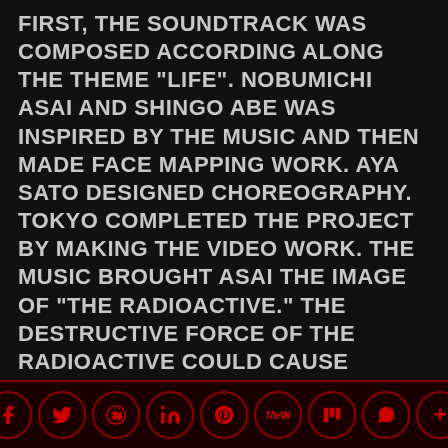FIRST, THE SOUNDTRACK WAS COMPOSED ACCORDING ALONG THE THEME "LIFE". NOBUMICHI ASAI AND SHINGO ABE WAS INSPIRED BY THE MUSIC AND THEN MADE FACE MAPPING WORK. AYA SATO DESIGNED CHOREOGRAPHY. TOKYO COMPLETED THE PROJECT BY MAKING THE VIDEO WORK. THE MUSIC BROUGHT ASAI THE IMAGE OF "THE RADIOACTIVE." THE DESTRUCTIVE FORCE OF THE RADIOACTIVE COULD CAUSE "DEATH," "SUFFERING," AND "SORROW." AND "PRAYERS" COULD OVERCOME THEM. THESE SUBJECTS INFUSE AYABAMBI'S POWERFUL PERFORMANCE. THEIR PERFORMANCE
[Figure (infographic): Social media share buttons row: Facebook, Twitter, Reddit, LinkedIn, Pinterest, MeWe, Mix, WhatsApp, More — each as a dark red circle with icon outline in red]